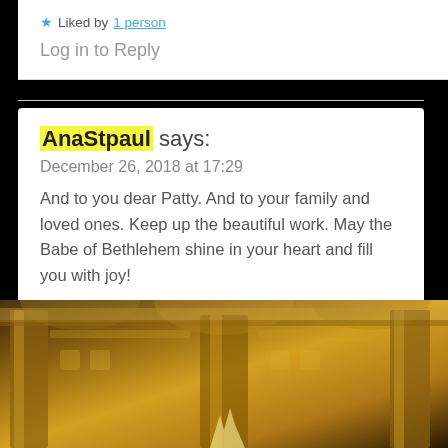★ Liked by 1 person
Log in to Reply
AnaStpaul says:
December 26, 2018 at 17:29
And to you dear Patty. And to your family and loved ones. Keep up the beautiful work. May the Babe of Bethlehem shine in your heart and fill you with joy!
★ Like
Log in to Reply
[Figure (photo): Ornate golden church or cathedral interior architectural detail, warm amber tones]